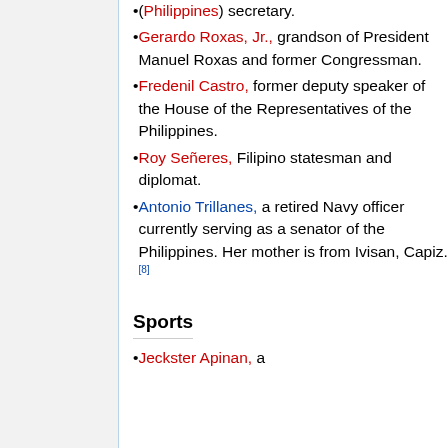(Philippines) secretary.
Gerardo Roxas, Jr., grandson of President Manuel Roxas and former Congressman.
Fredenil Castro, former deputy speaker of the House of the Representatives of the Philippines.
Roy Señeres, Filipino statesman and diplomat.
Antonio Trillanes, a retired Navy officer currently serving as a senator of the Philippines. Her mother is from Ivisan, Capiz.[8]
Sports
Jeckster Apinan, a